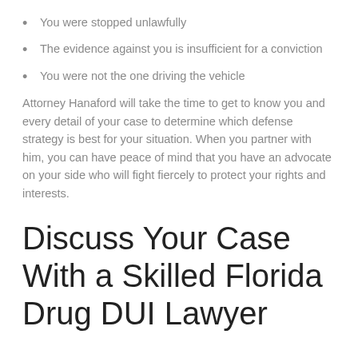You were stopped unlawfully
The evidence against you is insufficient for a conviction
You were not the one driving the vehicle
Attorney Hanaford will take the time to get to know you and every detail of your case to determine which defense strategy is best for your situation. When you partner with him, you can have peace of mind that you have an advocate on your side who will fight fiercely to protect your rights and interests.
Discuss Your Case With a Skilled Florida Drug DUI Lawyer